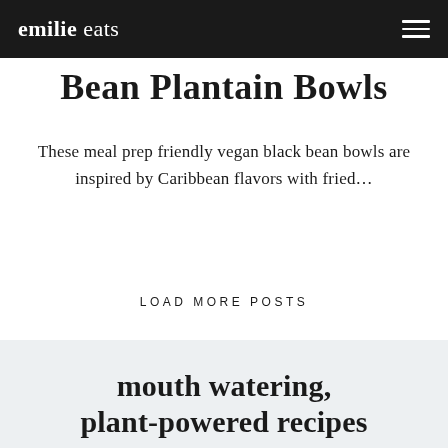emilie eats
Bean Plantain Bowls
These meal prep friendly vegan black bean bowls are inspired by Caribbean flavors with fried...
LOAD MORE POSTS
mouth watering, plant-powered recipes